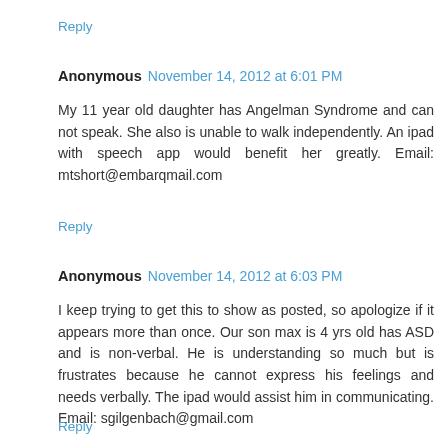Reply
Anonymous  November 14, 2012 at 6:01 PM
My 11 year old daughter has Angelman Syndrome and can not speak. She also is unable to walk independently. An ipad with speech app would benefit her greatly. Email: mtshort@embarqmail.com
Reply
Anonymous  November 14, 2012 at 6:03 PM
I keep trying to get this to show as posted, so apologize if it appears more than once. Our son max is 4 yrs old has ASD and is non-verbal. He is understanding so much but is frustrates because he cannot express his feelings and needs verbally. The ipad would assist him in communicating. Email: sgilgenbach@gmail.com
Reply